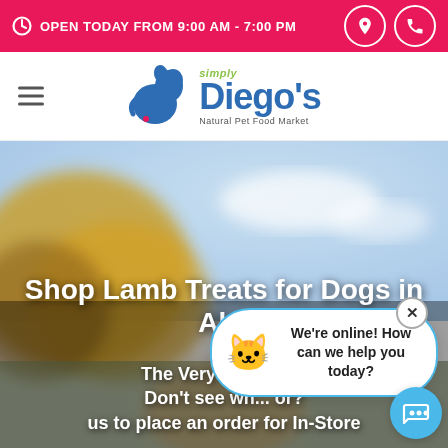OPEN TODAY FROM 9:00 AM - 7:00 PM
[Figure (logo): Simply Diego's Natural Pet Food Market logo with blue dog/cat silhouette icon]
[Figure (photo): Blurred outdoor background with dog, colorful autumn foliage and sky]
Shop Lamb Treats for Dogs in Al...
The Very Be... Treat Don't see wh... or? us to place an order for In-Store
[Figure (other): Chat popup widget with orange cat emoji, message 'We're online! How can we help you today?', close X button, and blue chat bubble button]